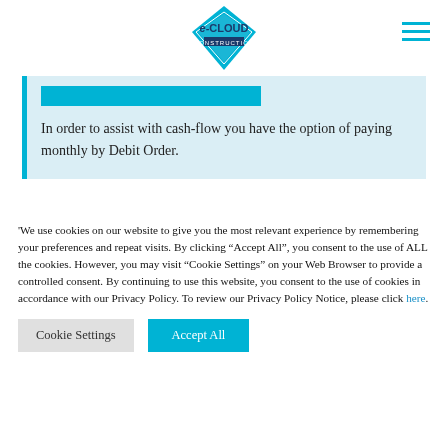[Figure (logo): e-CLOUD Construction logo — blue diamond shape with 'e-CLOUD' text and 'CONSTRUCTION' subtitle]
In order to assist with cash-flow you have the option of paying monthly by Debit Order.
'We use cookies on our website to give you the most relevant experience by remembering your preferences and repeat visits. By clicking “Accept All”, you consent to the use of ALL the cookies. However, you may visit “Cookie Settings” on your Web Browser to provide a controlled consent. By continuing to use this website, you consent to the use of cookies in accordance with our Privacy Policy. To review our Privacy Policy Notice, please click here.